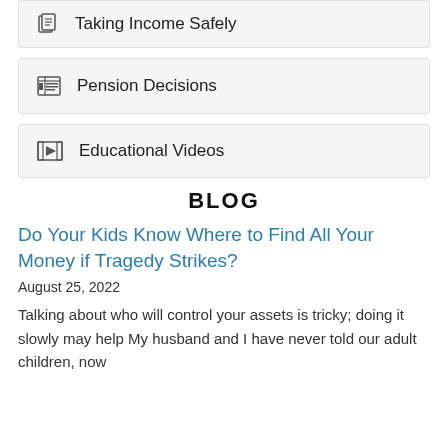Taking Income Safely
Pension Decisions
Educational Videos
BLOG
Do Your Kids Know Where to Find All Your Money if Tragedy Strikes?
August 25, 2022
Talking about who will control your assets is tricky; doing it slowly may help My husband and I have never told our adult children, now